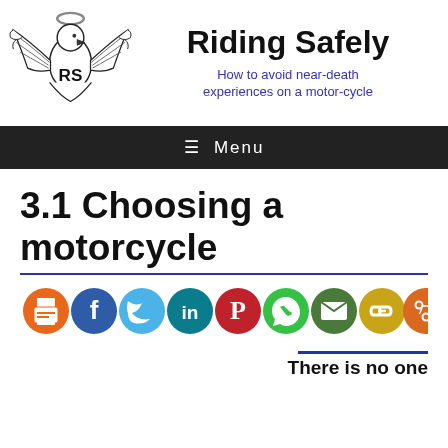Riding Safely — How to avoid near-death experiences on a motor-cycle
[Figure (logo): Eagle with wings spread and halo, letters RS on body — Riding Safely logo]
3.1 Choosing a motorcycle
[Figure (infographic): Row of 9 social share icon circles: print (orange), Facebook (blue), Twitter (light blue), LinkedIn (teal), Pinterest (red), WhatsApp (green), Email (dark green), Link (gold), Share (dark orange)]
There is no one